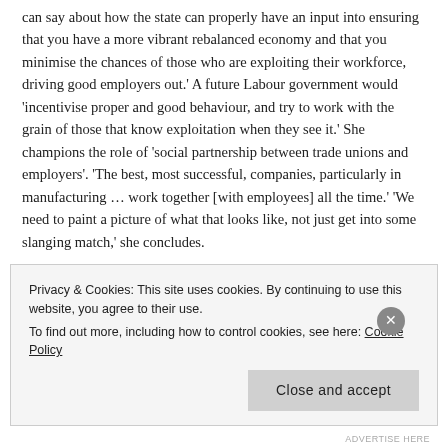can say about how the state can properly have an input into ensuring that you have a more vibrant rebalanced economy and that you minimise the chances of those who are exploiting their workforce, driving good employers out.' A future Labour government would 'incentivise proper and good behaviour, and try to work with the grain of those that know exploitation when they see it.' She champions the role of 'social partnership between trade unions and employers'. 'The best, most successful, companies, particularly in manufacturing … work together [with employees] all the time.' 'We need to paint a picture of what that looks like, not just get into some slanging match,' she concludes.
Shadowing Sajid Javid is going to be no easy task. Tipped as a future Conservative party leader, how he performs in the chamber and
Privacy & Cookies: This site uses cookies. By continuing to use this website, you agree to their use.
To find out more, including how to control cookies, see here: Cookie Policy
Close and accept